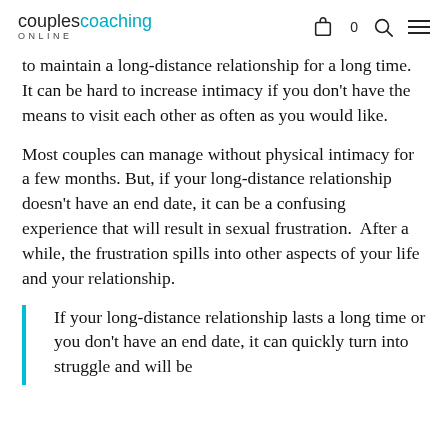couplescoaching ONLINE
to maintain a long-distance relationship for a long time. It can be hard to increase intimacy if you don't have the means to visit each other as often as you would like.
Most couples can manage without physical intimacy for a few months. But, if your long-distance relationship doesn't have an end date, it can be a confusing experience that will result in sexual frustration. After a while, the frustration spills into other aspects of your life and your relationship.
If your long-distance relationship lasts a long time or you don't have an end date, it can quickly turn into struggle and will be